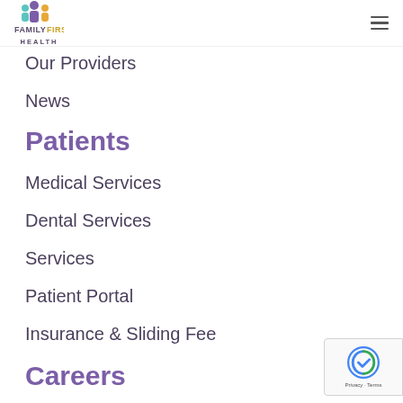Family First Health
Our Providers
News
Patients
Medical Services
Dental Services
Services
Patient Portal
Insurance & Sliding Fee
Careers